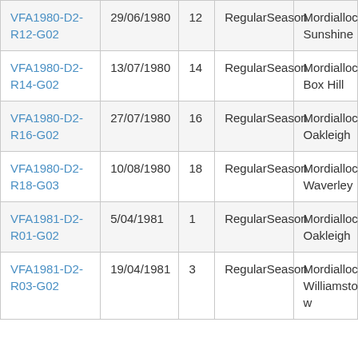| VFA1980-D2-R12-G02 | 29/06/1980 | 12 | RegularSeason | Mordialloc Sunshine |
| VFA1980-D2-R14-G02 | 13/07/1980 | 14 | RegularSeason | Mordialloc Box Hill |
| VFA1980-D2-R16-G02 | 27/07/1980 | 16 | RegularSeason | Mordialloc Oakleigh |
| VFA1980-D2-R18-G03 | 10/08/1980 | 18 | RegularSeason | Mordialloc Waverley |
| VFA1981-D2-R01-G02 | 5/04/1981 | 1 | RegularSeason | Mordialloc Oakleigh |
| VFA1981-D2-R03-G02 | 19/04/1981 | 3 | RegularSeason | Mordialloc Williamstown |